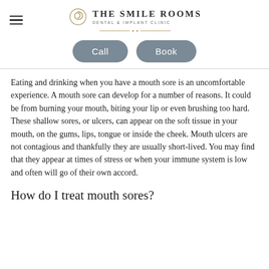The Smile Rooms – Dental & Implant Clinic
[Figure (logo): The Smile Rooms Dental & Implant Clinic logo with spiral icon and decorative divider line]
Call   Book
Eating and drinking when you have a mouth sore is an uncomfortable experience. A mouth sore can develop for a number of reasons. It could be from burning your mouth, biting your lip or even brushing too hard. These shallow sores, or ulcers, can appear on the soft tissue in your mouth, on the gums, lips, tongue or inside the cheek. Mouth ulcers are not contagious and thankfully they are usually short-lived. You may find that they appear at times of stress or when your immune system is low and often will go of their own accord.
How do I treat mouth sores?